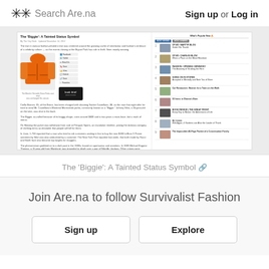✳✳ Search Are.na — Sign up or Log in
[Figure (screenshot): Screenshot of a New York Times article titled "The 'Biggie': A Tainted Status Symbol" showing an orange Moncler jacket, article text about fashion-related crime, related links sidebar, and a popular items sidebar on the right.]
The 'Biggie': A Tainted Status Symbol 🔗
Join Are.na to follow Survivalist Fashion
Sign up
Explore